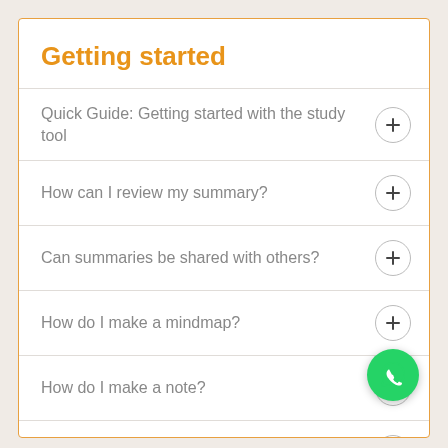Getting started
Quick Guide: Getting started with the study tool
How can I review my summary?
Can summaries be shared with others?
How do I make a mindmap?
How do I make a note?
How do I make a new summary?
How do I make an account?